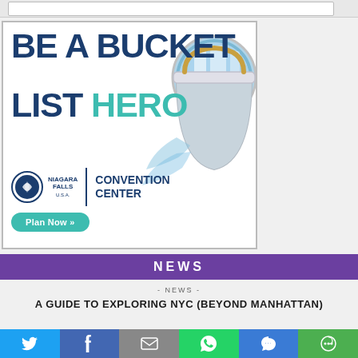[Figure (advertisement): Niagara Falls USA Convention Center advertisement - 'Be A Bucket List Hero' with image of a paint bucket containing Niagara Falls waterfall photo. Includes Niagara Falls logo, 'Convention Center' text, and 'Plan Now >>' button.]
NEWS
- NEWS -
A GUIDE TO EXPLORING NYC (BEYOND MANHATTAN)
[Figure (infographic): Social sharing bar with Twitter (blue), Facebook (dark blue), Email (gray), WhatsApp (green), SMS (blue), and More (green) buttons with icons]